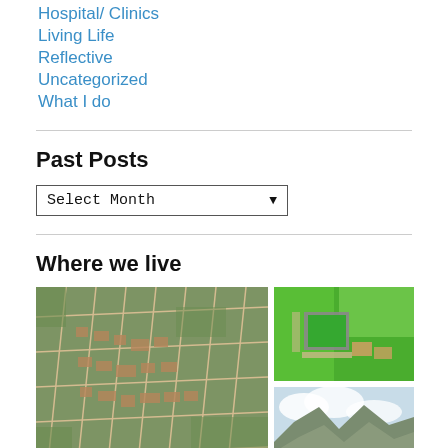Hospital/ Clinics
Living Life
Reflective
Uncategorized
What I do
Past Posts
Select Month
Where we live
[Figure (photo): Aerial view of a small town with a grid of streets surrounded by green fields and vegetation]
[Figure (photo): Aerial view of green fields and buildings with a large green roof courtyard]
[Figure (photo): Partial view of mountains with sky and clouds]